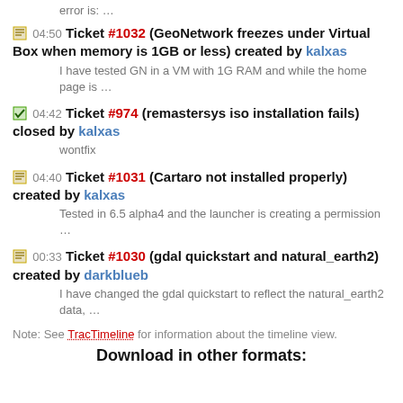error is: …
04:50 Ticket #1032 (GeoNetwork freezes under Virtual Box when memory is 1GB or less) created by kalxas
I have tested GN in a VM with 1G RAM and while the home page is …
04:42 Ticket #974 (remastersys iso installation fails) closed by kalxas
wontfix
04:40 Ticket #1031 (Cartaro not installed properly) created by kalxas
Tested in 6.5 alpha4 and the launcher is creating a permission …
00:33 Ticket #1030 (gdal quickstart and natural_earth2) created by darkblueb
I have changed the gdal quickstart to reflect the natural_earth2 data, …
Note: See TracTimeline for information about the timeline view.
Download in other formats: